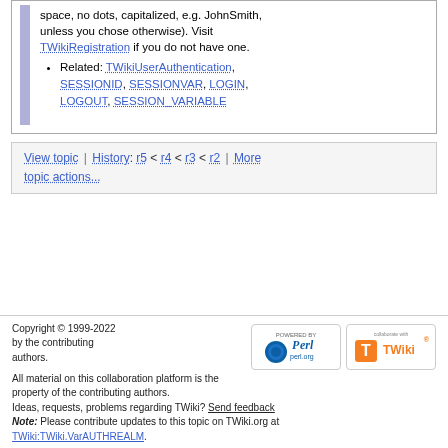space, no dots, capitalized, e.g. JohnSmith, unless you chose otherwise). Visit TWikiRegistration if you do not have one.
Related: TWikiUserAuthentication, SESSIONID, SESSIONVAR, LOGIN, LOGOUT, SESSION_VARIABLE
View topic | History: r5 < r4 < r3 < r2 | More topic actions...
Copyright © 1999-2022 by the contributing authors. All material on this collaboration platform is the property of the contributing authors. Ideas, requests, problems regarding TWiki? Send feedback Note: Please contribute updates to this topic on TWiki.org at TWiki:TWiki.VarAUTHREALM.